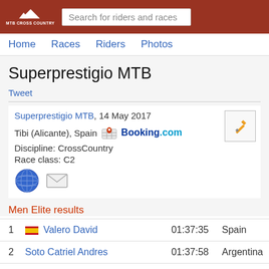MTB CROSS COUNTRY — Search for riders and races
Home  Races  Riders  Photos
Superprestigio MTB
Tweet
Superprestigio MTB, 14 May 2017
Tibi (Alicante), Spain  Booking.com
Discipline: CrossCountry
Race class: C2
Men Elite results
| Pos | Name | Time | Country |
| --- | --- | --- | --- |
| 1 | Valero David | 01:37:35 | Spain |
| 2 | Soto Catriel Andres | 01:37:58 | Argentina |
| 3 | Duran Reig Josep | 01:40:54 | Spain |